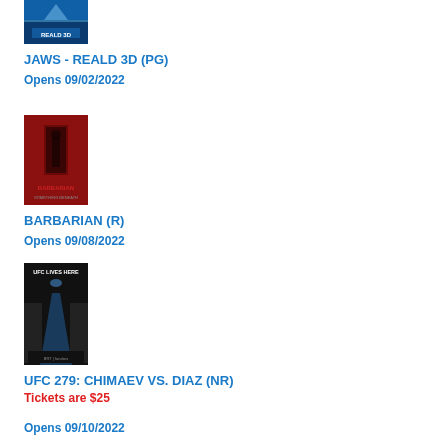[Figure (photo): Movie poster for JAWS - REALD 3D, showing a shark and REALD 3D logo on blue background]
JAWS - REALD 3D (PG)
Opens 09/02/2022
[Figure (photo): Movie poster for BARBARIAN, showing a dark red background with a figure in a doorway]
BARBARIAN (R)
Opens 09/08/2022
[Figure (photo): Movie poster for UFC 279: CHIMAEV VS. DIAZ showing a cinema aisle with UFC branding]
UFC 279: CHIMAEV VS. DIAZ (NR)
Tickets are $25
Opens 09/10/2022